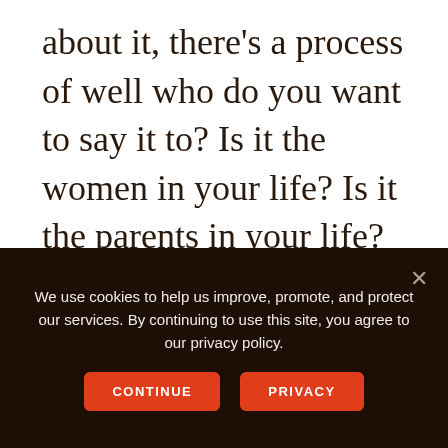about it, there's a process of well who do you want to say it to? Is it the women in your life? Is it the parents in your life? Is it the teenagers? Is it executive leaders?

There is a process and we're actually going to talk about that in more detail. There is two parts to this
We use cookies to help us improve, promote, and protect our services. By continuing to use this site, you agree to our privacy policy.